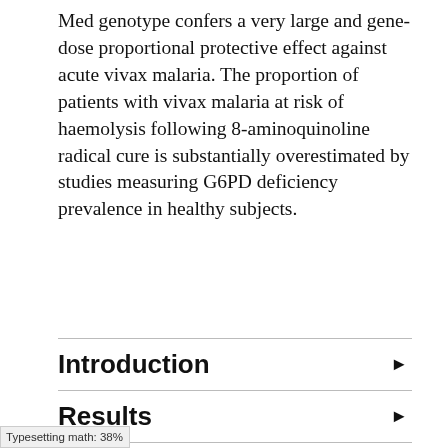Med genotype confers a very large and gene-dose proportional protective effect against acute vivax malaria. The proportion of patients with vivax malaria at risk of haemolysis following 8-aminoquinoline radical cure is substantially overestimated by studies measuring G6PD deficiency prevalence in healthy subjects.
Introduction
Results
Discussion
Typesetting math: 38%